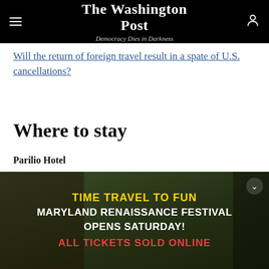The Washington Post — Democracy Dies in Darkness
Will the return of foreign travel result in a spate of U.S. cancellations?
Where to stay
Parilio Hotel
[Figure (photo): Advertisement banner for Maryland Renaissance Festival showing costumed performers in a wooded festival setting with text: TIME TRAVEL TO FUN / MARYLAND RENAISSANCE FESTIVAL OPENS SATURDAY! / ALL TICKETS SOLD ONLINE]